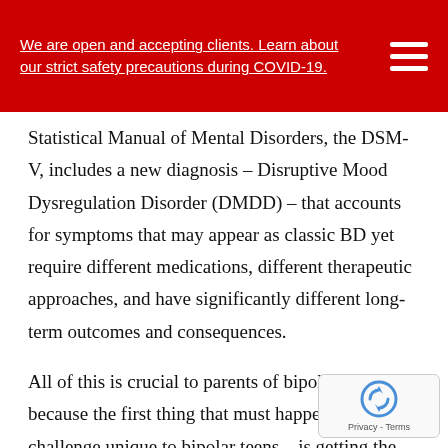We are open and accepting clients. Learn about our strict safety precautions during COVID-19.
Statistical Manual of Mental Disorders, the DSM-V, includes a new diagnosis – Disruptive Mood Dysregulation Disorder (DMDD) – that accounts for symptoms that may appear as classic BD yet require different medications, different therapeutic approaches, and have significantly different long-term outcomes and consequences.
All of this is crucial to parents of bipolar teens because the first thing that must happen – the first challenge unique to bipolar teens – is getting the diagnosis right. Parents of teens diagnosed with can and should get a second opinion to ensure both